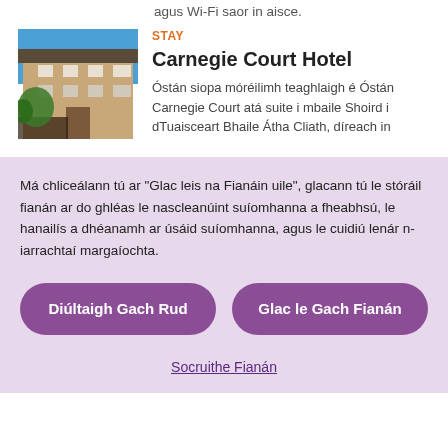agus Wi-Fi saor in aisce.
[Figure (photo): Exterior photo of Carnegie Court Hotel building]
STAY
Carnegie Court Hotel
Óstán siopa móréilimh teaghlaigh é Óstán Carnegie Court atá suite i mbaile Shoird i dTuaisceart Bhaile Átha Cliath, díreach in
Má chliceálann tú ar "Glac leis na Fianáin uile", glacann tú le stóráil fianán ar do ghléas le nascleanúint suíomhanna a fheabhsú, le hanailís a dhéanamh ar úsáid suíomhanna, agus le cuidiú lenár n-iarrachtaí margaíochta.
Diúltaigh Gach Rud
Glac le Gach Fianán
Socruithe Fianán